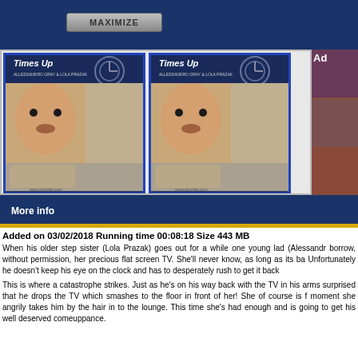[Figure (screenshot): MAXIMIZE button on a dark blue background]
[Figure (screenshot): Two side-by-side thumbnail images of a video titled 'Times Up' showing a young man and adult content imagery. A third partial thumbnail is visible on the right.]
Ad
More info
Added on 03/02/2018 Running time 00:08:18 Size 443 MB
When his older step sister (Lola Prazak) goes out for a while one young lad (Alessandr borrow, without permission, her precious flat screen TV. She'll never know, as long as its ba Unfortunately he doesn't keep his eye on the clock and has to desperately rush to get it back
This is where a catastrophe strikes. Just as he's on his way back with the TV in his arms surprised that he drops the TV which smashes to the floor in front of her! She of course is f moment she angrily takes him by the hair in to the lounge. This time she's had enough and is going to get his well deserved comeuppance.